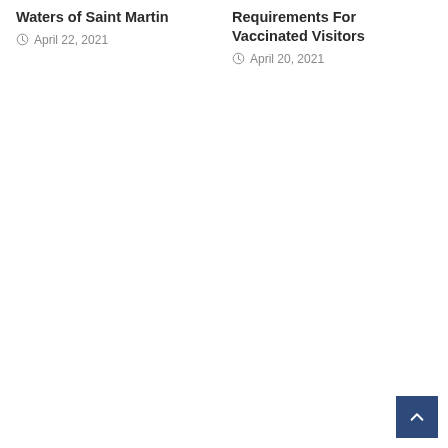Waters of Saint Martin
April 22, 2021
Requirements For Vaccinated Visitors
April 20, 2021